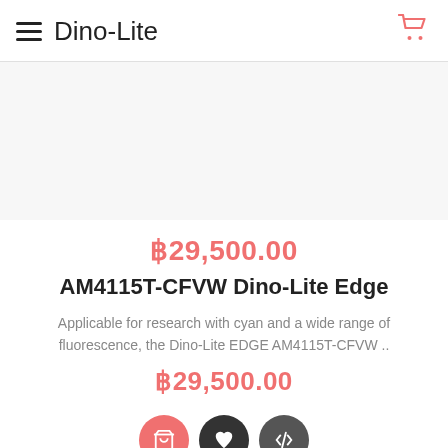Dino-Lite
[Figure (photo): Product image area (white/light gray background, product not visible in this portion)]
฿29,500.00
AM4115T-CFVW Dino-Lite Edge
Applicable for research with cyan and a wide range of fluorescence, the Dino-Lite EDGE AM4115T-CFVW ..
฿29,500.00